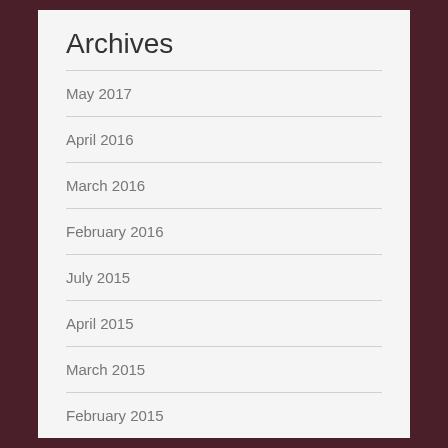Archives
May 2017
April 2016
March 2016
February 2016
July 2015
April 2015
March 2015
February 2015
January 2015